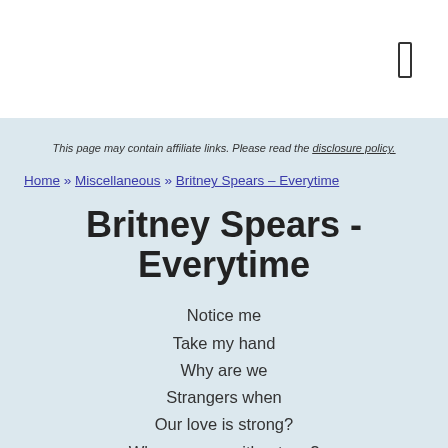This page may contain affiliate links. Please read the disclosure policy.
Home » Miscellaneous » Britney Spears – Everytime
Britney Spears - Everytime
Notice me
Take my hand
Why are we
Strangers when
Our love is strong?
Why carry on without me?